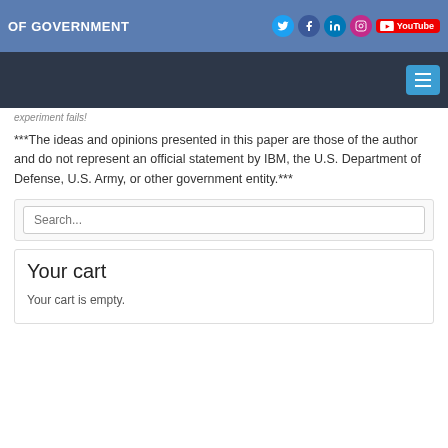of Government — social media icons: Twitter, Facebook, LinkedIn, Instagram, YouTube
experiment fails!
***The ideas and opinions presented in this paper are those of the author and do not represent an official statement by IBM, the U.S. Department of Defense, U.S. Army, or other government entity.***
Search...
Your cart
Your cart is empty.